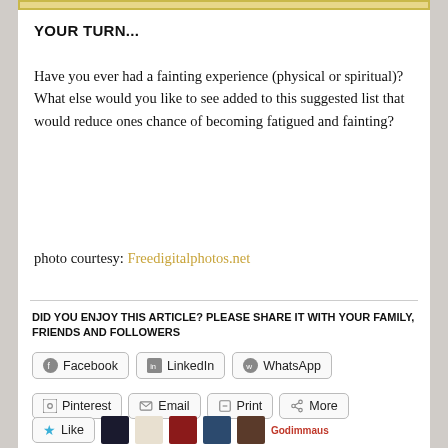YOUR TURN...
Have you ever had a fainting experience (physical or spiritual)? What else would you like to see added to this suggested list that would reduce ones chance of becoming fatigued and fainting?
photo courtesy: Freedigitalphotos.net
DID YOU ENJOY THIS ARTICLE? PLEASE SHARE IT WITH YOUR FAMILY, FRIENDS AND FOLLOWERS
Facebook  LinkedIn  WhatsApp  Pinterest  Email  Print  More
Like  6 bloggers like this.